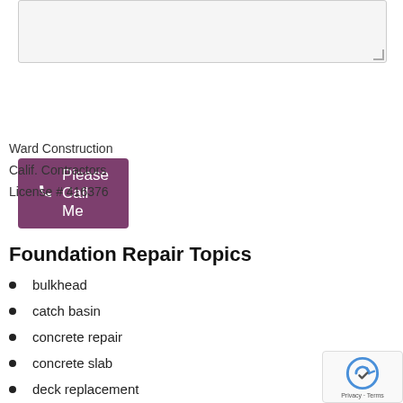[Figure (screenshot): Text area input box with resize handle]
Please Call Me (button with phone icon)
Ward Construction
Calif. Contractors
License # 416376
Foundation Repair Topics
bulkhead
catch basin
concrete repair
concrete slab
deck replacement